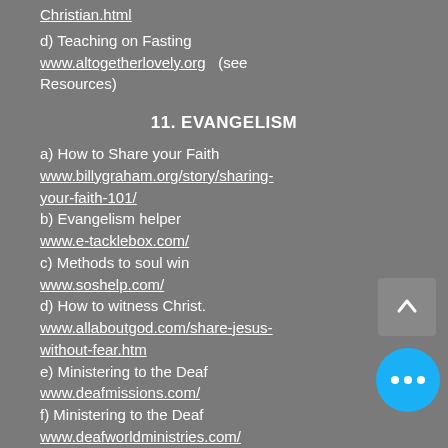Christian.html
d) Teaching on Fasting
www.altogetherlovely.org   (see Resources)
11. EVANGELISM
a) How to Share your Faith
www.billygraham.org/story/sharing-your-faith-101/
b) Evangelism helper
www.e-tacklebox.com/
c) Methods to soul win
www.soshelp.com/
d) How to witness Christ.
www.allaboutgod.com/share-jesus-without-fear.htm
e) Ministering to the Deaf
www.deafmissions.com/
f) Ministering to the Deaf
www.deafworldministries.com/
g) Ministering to the Deaf
www.deafharvest.org/